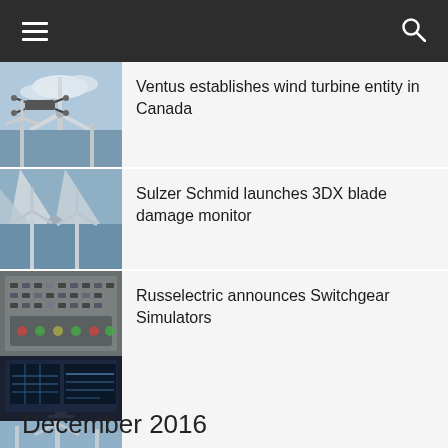Navigation bar with hamburger menu and search icon
Ventus establishes wind turbine entity in Canada
[Figure (photo): Drone flying near wind turbines and offshore wind turbine structures]
Sulzer Schmid launches 3DX blade damage monitor
[Figure (photo): Close-up of wind turbine blades and offshore wind turbines]
Russelectric announces Switchgear Simulators
[Figure (photo): Switchgear equipment and computer monitors displaying technical schematics, plus wind turbine structures]
December 2016